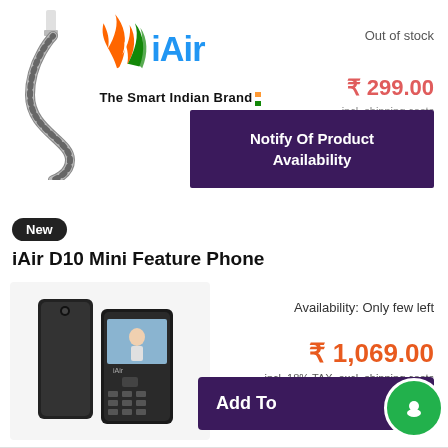[Figure (logo): iAir brand logo with Indian tricolor bird/wing motif and text 'iAir' in blue, tagline 'The Smart Indian Brand' with Indian flag stripes]
Out of stock
₹ 299.00
incl. shipping costs
[Figure (photo): Braided USB cable coiled up]
Notify Of Product Availability
New
iAir D10 Mini Feature Phone
[Figure (photo): iAir D10 Mini Feature Phone - black small feature phone shown from front and side angle]
Availability: Only few left
₹ 1,069.00
incl. 18% TAX, excl. shipping costs
Add To